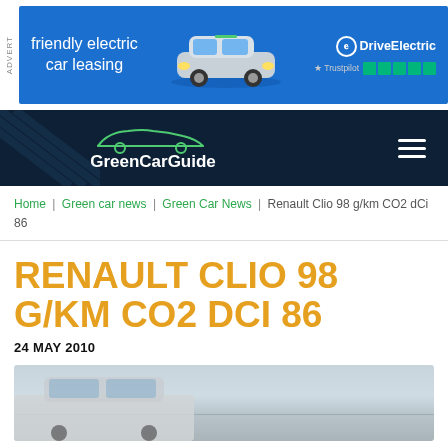[Figure (screenshot): Advertisement banner: friendly electric car leasing - DriveElectric with Trustpilot 5-star rating and MINI electric car image]
[Figure (logo): GreenCarGuide website logo with car outline silhouette on dark navy background and hamburger menu]
Home | Green car news | Green Car News | Renault Clio 98 g/km CO2 dCi 86
RENAULT CLIO 98 G/KM CO2 DCI 86
24 MAY 2010
[Figure (photo): Partial photo of a silver Renault Clio car, front quarter view, outdoors]